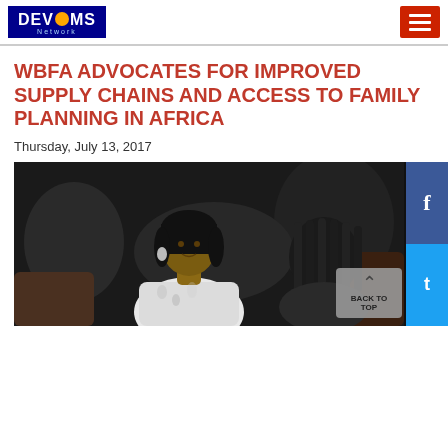[Figure (logo): DEVCOMS Network logo on dark blue background with orange globe]
WBFA ADVOCATES FOR IMPROVED SUPPLY CHAINS AND ACCESS TO FAMILY PLANNING IN AFRICA
Thursday, July 13, 2017
[Figure (photo): A woman in a white patterned blouse speaking at an event, seated, with another person visible from behind]